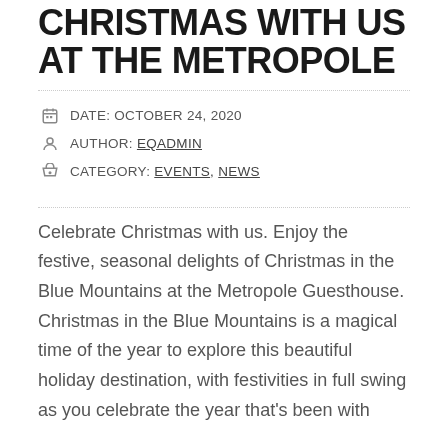CHRISTMAS WITH US AT THE METROPOLE
DATE: OCTOBER 24, 2020
AUTHOR: EQADMIN
CATEGORY: EVENTS, NEWS
Celebrate Christmas with us. Enjoy the festive, seasonal delights of Christmas in the Blue Mountains at the Metropole Guesthouse. Christmas in the Blue Mountains is a magical time of the year to explore this beautiful holiday destination, with festivities in full swing as you celebrate the year that's been with